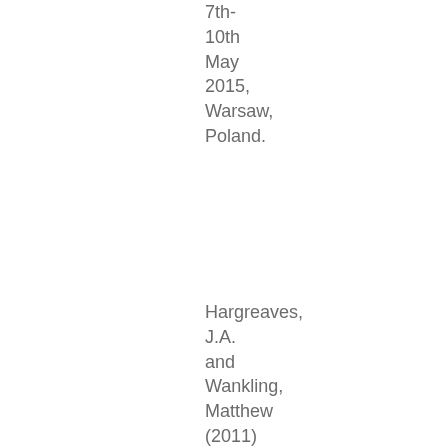7th-10th May 2015, Warsaw, Poland.
Hargreaves, J.A. and Wankling, Matthew (2011) Implementing wave field synthesis in an ITU spec listening room